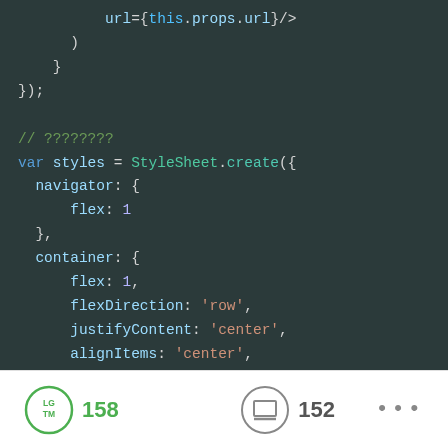[Figure (screenshot): Code editor screenshot showing JavaScript/React Native code with syntax highlighting on dark background. Shows closing of a component with url={this.props.url}/>, closing parentheses and braces, a comment line, and StyleSheet.create() call with navigator and container styles including flex, flexDirection, justifyContent, alignItems, and backgroundColor properties.]
[Figure (infographic): Mobile app footer bar on white background showing: LGTM badge (green circle with LG TM text) with count 158, a stamp/archive icon (gray circle) with count 152, and three dots menu icon.]